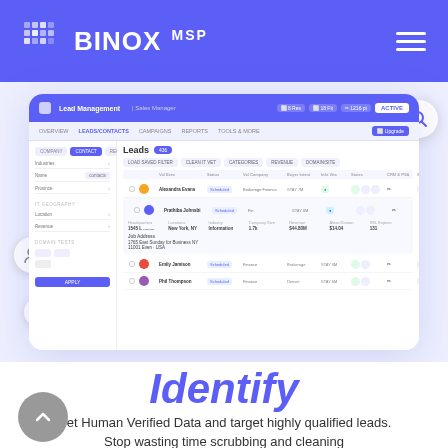BINOX MSP
[Figure (screenshot): Screenshot of BINOX MSP Lead Management dashboard showing a table of leads with filters, sidebar navigation, and an expanded lead row with company details.]
Identify
Get Human Verified Data and target highly qualified leads. Stop wasting time scrubbing and cleaning records. And focus.